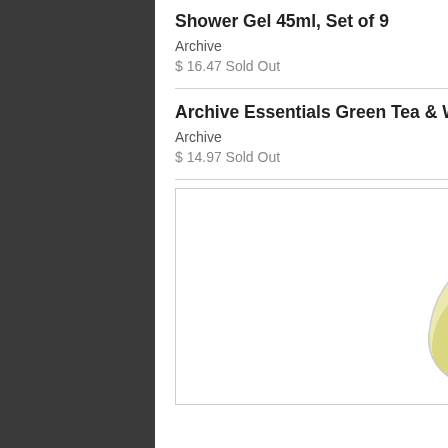Shower Gel 45ml, Set of 9
Archive
$ 16.47 Sold Out
Archive Essentials Green Tea & Willow Bath Soap 2.25oz Each, Set of 9
Archive
$ 14.97 Sold Out
[Figure (photo): Close-up photo of a small clear glass bottle with silver screw cap, filled with pale yellow liquid, on a white background. A blue 'SALE' badge is visible in the upper right corner.]